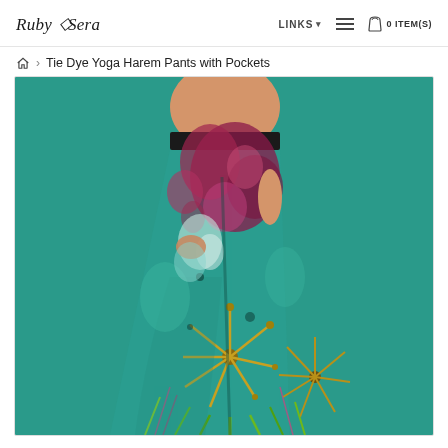Ruby Sera — LINKS ▾ ☰ 🛍 0 ITEM(S)
🏠 > Tie Dye Yoga Harem Pants with Pockets
[Figure (photo): A woman wearing colorful teal tie-dye yoga harem pants with pockets, featuring pink/magenta and yellow/green mandala patterns. The image is cropped to show from the waist down.]